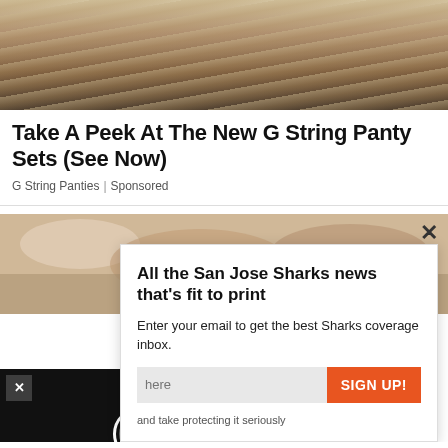[Figure (photo): Close-up photo of a person with long highlighted blonde hair, top portion visible]
Take A Peek At The New G String Panty Sets (See Now)
G String Panties | Sponsored
[Figure (photo): Partial photo of a person lying down, with a popup email signup modal overlaid and a video player overlay in the bottom-left]
All the San Jose Sharks news that's fit to print
Enter your email to get the best Sharks coverage inbox.
and take protecting it seriously